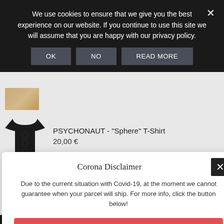We use cookies to ensure that we give you the best experience on our website. If you continue to use this site we will assume that you are happy with our privacy policy.
OK  NO  READ MORE
[Figure (photo): Partial product thumbnail image, warm tones]
PSYCHONAUT - "Sphere" T-Shirt
20,00 €
Corona Disclaimer
Due to the current situation with Covid-19, at the moment we cannot guarantee when your parcel will ship. For more info, click the button below!
Click here!